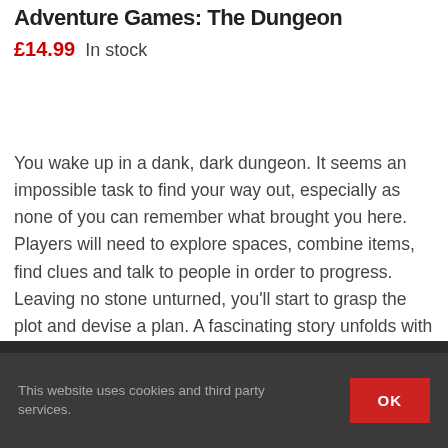Adventure Games: The Dungeon
£14.99  In stock
You wake up in a dank, dark dungeon. It seems an impossible task to find your way out, especially as none of you can remember what brought you here. Players will need to explore spaces, combine items, find clues and talk to people in order to progress. Leaving no stone unturned, you'll start to grasp the plot and devise a plan. A fascinating story unfolds with each action, and with branching paths you will need to adventure through again and again to discover the whole story! This game features simple rules and can be played multiple times.
This website uses cookies and third party services.